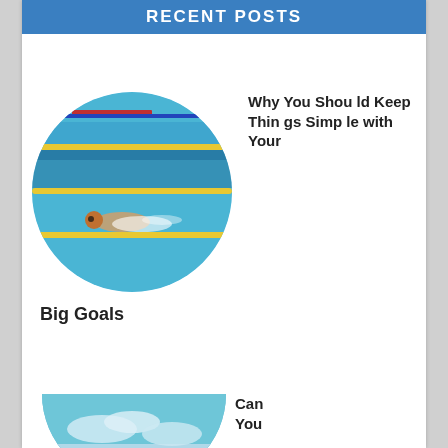RECENT POSTS
[Figure (photo): Circular cropped photo of a swimmer in a blue swimming pool with yellow lane dividers, viewed from above]
Why You Should Keep Things Simple with Your Big Goals
[Figure (photo): Circular cropped photo showing a sky with clouds, partially visible (bottom half cut off)]
Can You